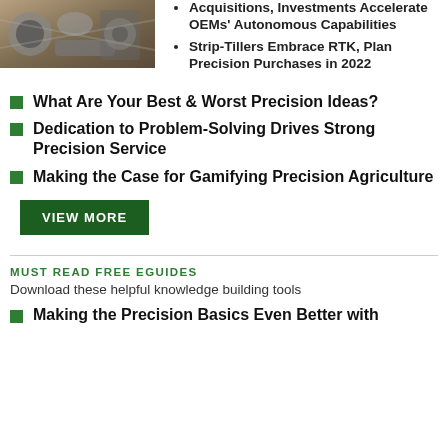[Figure (photo): Photo of mechanical/agricultural equipment parts]
Acquisitions, Investments Accelerate OEMs' Autonomous Capabilities
Strip-Tillers Embrace RTK, Plan Precision Purchases in 2022
What Are Your Best & Worst Precision Ideas?
Dedication to Problem-Solving Drives Strong Precision Service
Making the Case for Gamifying Precision Agriculture
VIEW MORE
MUST READ FREE EGUIDES
Download these helpful knowledge building tools
Making the Precision Basics Even Better with